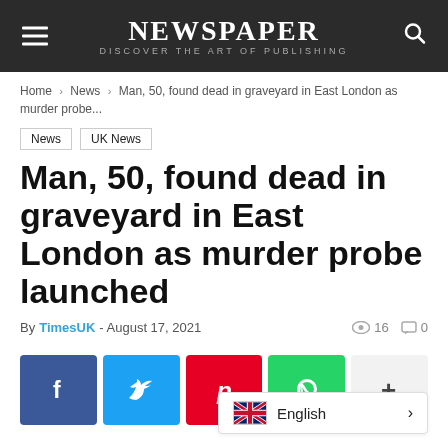NEWSPAPER — DISCOVER THE ART OF PUBLISHING
Home > News > Man, 50, found dead in graveyard in East London as murder probe...
News
UK News
Man, 50, found dead in graveyard in East London as murder probe launched
By TimesUK - August 17, 2021   16  0
[Figure (infographic): Social media share buttons: Facebook (blue), Twitter (cyan), Pinterest (red), WhatsApp (green), More (+) (light grey)]
English >